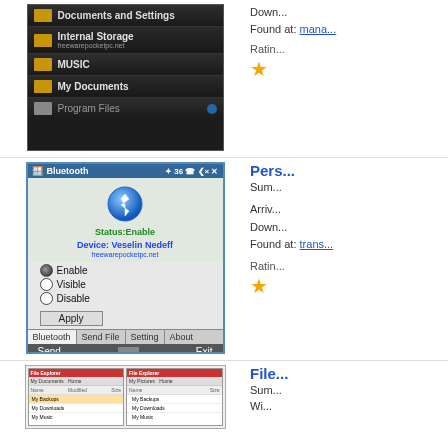[Figure (screenshot): File manager screenshot showing folders: Documents and Settings, Internal Storage, MUSIC, My Documents, Program Files on dark background]
Download Found at: mana...
Rating:
[Figure (screenshot): Bluetooth app screenshot showing blue Bluetooth icon, Status:Enable, Device: Veselin Nedeff, radio buttons for Enable/Visible/Disable, Apply button, tabs for Bluetooth/Send File/Setting/About]
Pers... Summary Arrived Download Found at: trans... Rating:
[Figure (screenshot): File Explorer screenshot showing two side-by-side file explorer windows]
File... Sum... Wi...